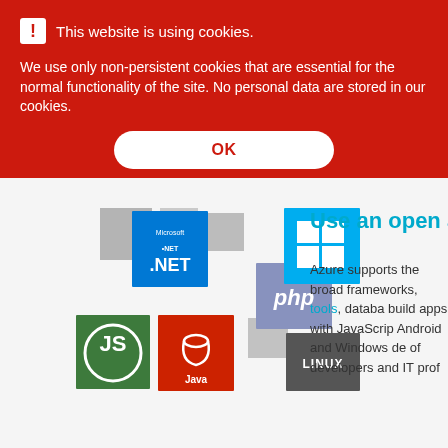This website is using cookies.
We use only non-persistent cookies that are essential for the normal functionality of the site. No personal data are stored in our cookies.
OK
[Figure (infographic): Collage of technology logos: Microsoft .NET (blue tile), PHP (purple tile), Windows (cyan tile with Windows logo), Node.js (green tile), Java (red tile), Linux (dark gray tile), with decorative gray squares in background]
Use an open and
Azure supports the broad frameworks, tools, databa build apps with JavaScrip Android and Windows de of developers and IT prof